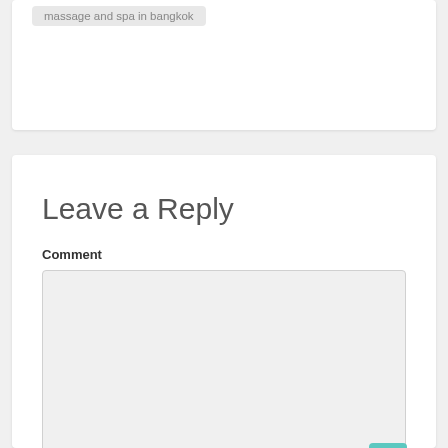massage and spa in bangkok
Leave a Reply
Comment